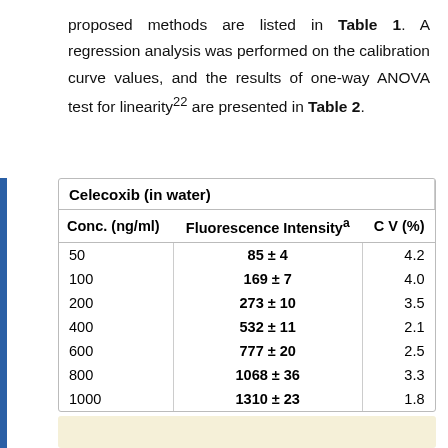proposed methods are listed in Table 1. A regression analysis was performed on the calibration curve values, and the results of one-way ANOVA test for linearity22 are presented in Table 2.
| Conc. (ng/ml) | Fluorescence Intensityᵃ | C V (%) |
| --- | --- | --- |
| 50 | 85 ± 4 | 4.2 |
| 100 | 169 ± 7 | 4.0 |
| 200 | 273 ± 10 | 3.5 |
| 400 | 532 ± 11 | 2.1 |
| 600 | 777 ± 20 | 2.5 |
| 800 | 1068 ± 36 | 3.3 |
| 1000 | 1310 ± 23 | 1.8 |